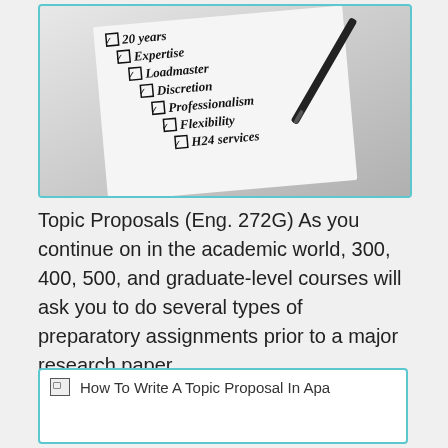[Figure (photo): Black and white photo of a checklist paper with checkboxes next to items: 20 years, Expertise, Loadmaster, Discretion, Professionalism, Flexibility, H24 services. A pen rests on top of the paper.]
Topic Proposals (Eng. 272G) As you continue on in the academic world, 300, 400, 500, and graduate-level courses will ask you to do several types of preparatory assignments prior to a major research paper.
[Figure (photo): Broken image placeholder labeled 'How To Write A Topic Proposal In Apa']